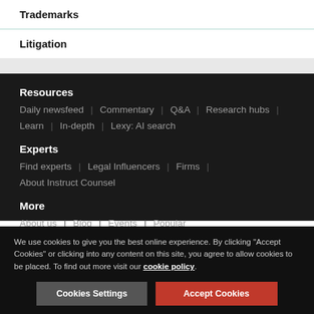Trademarks
Litigation
Resources
Daily newsfeed | Commentary | Q&A | Research hubs | Learn | In-depth | Lexy: AI search
Experts
Find experts | Legal Influencers | Firms | About Instruct Counsel
More
About us | Blog | Events | Popular
We use cookies to give you the best online experience. By clicking "Accept Cookies" or clicking into any content on this site, you agree to allow cookies to be placed. To find out more visit our cookie policy.